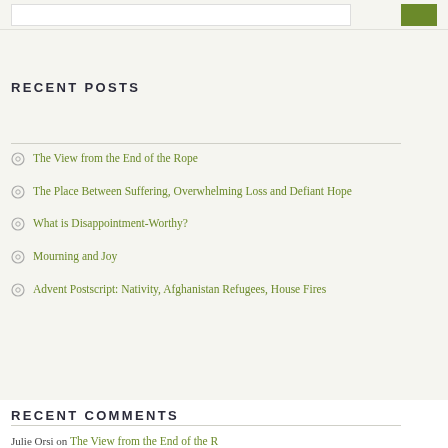RECENT POSTS
The View from the End of the Rope
The Place Between Suffering, Overwhelming Loss and Defiant Hope
What is Disappointment-Worthy?
Mourning and Joy
Advent Postscript: Nativity, Afghanistan Refugees, House Fires
RECENT COMMENTS
Julie Orsi on The View from the End of the R